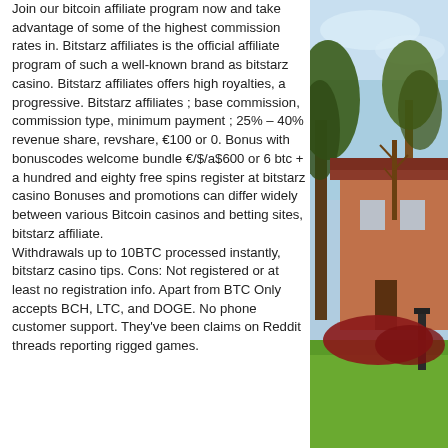Join our bitcoin affiliate program now and take advantage of some of the highest commission rates in. Bitstarz affiliates is the official affiliate program of such a well-known brand as bitstarz casino. Bitstarz affiliates offers high royalties, a progressive. Bitstarz affiliates ; base commission, commission type, minimum payment ; 25% – 40% revenue share, revshare, €100 or 0. Bonus with bonuscodes welcome bundle €/$/a$600 or 6 btc + a hundred and eighty free spins register at bitstarz casino Bonuses and promotions can differ widely between various Bitcoin casinos and betting sites, bitstarz affiliate.
Withdrawals up to 10BTC processed instantly, bitstarz casino tips. Cons: Not registered or at least no registration info. Apart from BTC Only accepts BCH, LTC, and DOGE. No phone customer support. They've been claims on Reddit threads reporting rigged games.
[Figure (photo): Outdoor photo showing trees, a brick building with a red roof, grass, and a fence post against a blue sky.]